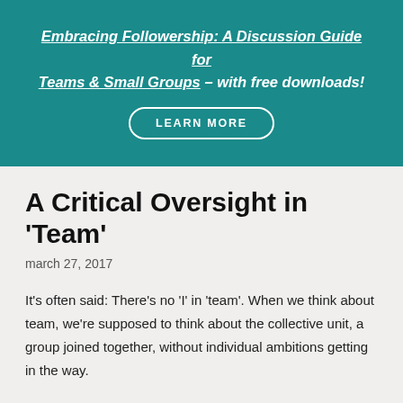Embracing Followership: A Discussion Guide for Teams & Small Groups – with free downloads!
LEARN MORE
A Critical Oversight in 'Team'
march 27, 2017
It's often said: There's no 'I' in 'team'. When we think about team, we're supposed to think about the collective unit, a group joined together, without individual ambitions getting in the way.